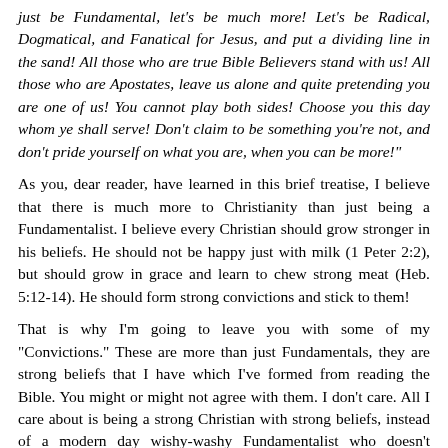just be Fundamental, let's be much more! Let's be Radical, Dogmatical, and Fanatical for Jesus, and put a dividing line in the sand! All those who are true Bible Believers stand with us! All those who are Apostates, leave us alone and quite pretending you are one of us! You cannot play both sides! Choose you this day whom ye shall serve! Don't claim to be something you're not, and don't pride yourself on what you are, when you can be more!"
As you, dear reader, have learned in this brief treatise, I believe that there is much more to Christianity than just being a Fundamentalist. I believe every Christian should grow stronger in his beliefs. He should not be happy just with milk (1 Peter 2:2), but should grow in grace and learn to chew strong meat (Heb. 5:12-14). He should form strong convictions and stick to them!
That is why I'm going to leave you with some of my "Convictions." These are more than just Fundamentals, they are strong beliefs that I have which I've formed from reading the Bible. You might or might not agree with them. I don't care. All I care about is being a strong Christian with strong beliefs, instead of a modern day wishy-washy Fundamentalist who doesn't believe in hardly anything. The old saying is "If you don't stand for something, you'll fall for anything!" Sadly, even the once mighty "Fundamentalists" are falling into apostasy in our world today. It's because they've never grown farther than the Fundamentals. How